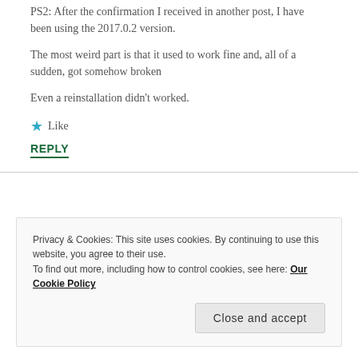PS2: After the confirmation I received in another post, I have been using the 2017.0.2 version.
The most weird part is that it used to work fine and, all of a sudden, got somehow broken
Even a reinstallation didn't worked.
★ Like
REPLY
Privacy & Cookies: This site uses cookies. By continuing to use this website, you agree to their use.
To find out more, including how to control cookies, see here: Our Cookie Policy
Close and accept